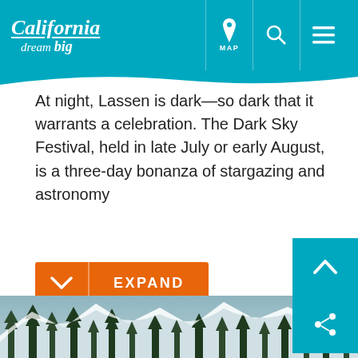California dream big | MAP | [search] | [menu]
At night, Lassen is dark—so dark that it warrants a celebration. The Dark Sky Festival, held in late July or early August, is a three-day bonanza of stargazing and astronomy
[Figure (screenshot): Orange EXPAND button with down-chevron icon on left side]
[Figure (photo): Snow-covered mountain landscape with evergreen trees]